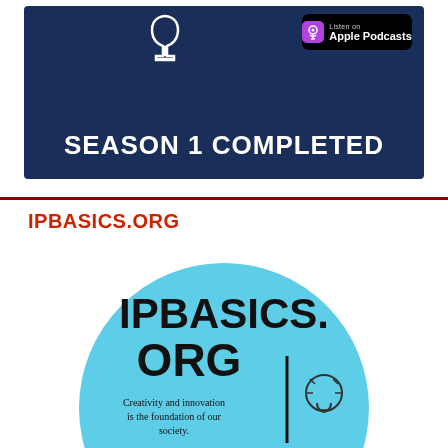[Figure (screenshot): Dark blue banner image showing 'SEASON 1 COMPLETED' text in white bold letters with Apple Podcasts badge in top right and a wine glass icon on the top left area]
IPBASICS.ORG
[Figure (logo): Light blue circular logo for IPBASICS.ORG with text 'Creativity and innovation is the foundation of our society.' and a lightbulb icon on the right side]